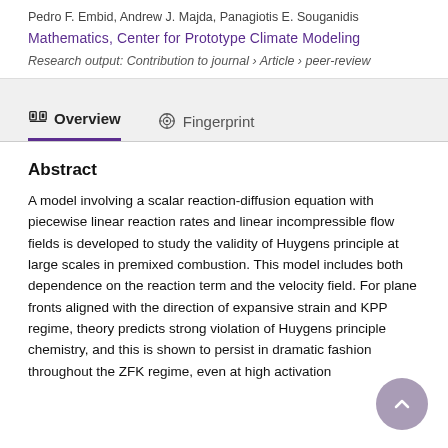Pedro F. Embid, Andrew J. Majda, Panagiotis E. Souganidis
Mathematics, Center for Prototype Climate Modeling
Research output: Contribution to journal › Article › peer-review
Overview
Fingerprint
Abstract
A model involving a scalar reaction-diffusion equation with piecewise linear reaction rates and linear incompressible flow fields is developed to study the validity of Huygens principle at large scales in premixed combustion. This model includes both dependence on the reaction term and the velocity field. For plane fronts aligned with the direction of expansive strain and KPP regime, theory predicts strong violation of Huygens principle chemistry, and this is shown to persist in dramatic fashion throughout the ZFK regime, even at high activation